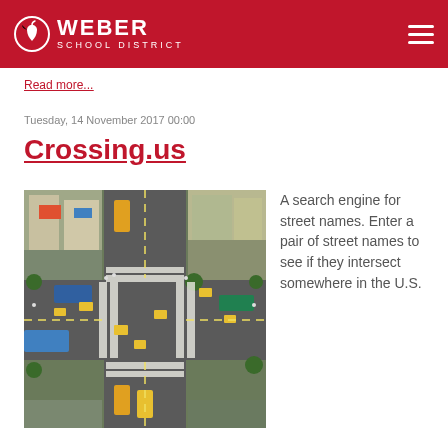Weber School District
Read more...
Tuesday, 14 November 2017 00:00
Crossing.us
[Figure (photo): Aerial view of a busy urban intersection with many vehicles, buses, and pedestrians with crosswalks visible, likely in an Asian city.]
A search engine for street names. Enter a pair of street names to see if they intersect somewhere in the U.S.